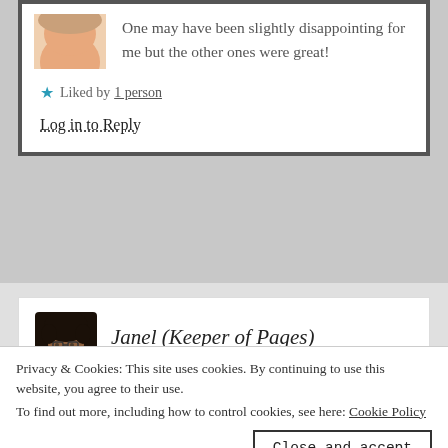[Figure (photo): Partial avatar image of a person, skin-tone face cropped at top]
One may have been slightly disappointing for me but the other ones were great!
★ Liked by 1 person
Log in to Reply
[Figure (illustration): Cartoon avatar of a Black woman with natural hair and glasses, wearing a dark red top]
Janel (Keeper of Pages)
April 14, 2019 at 1:08 pm
Yes, what has happened to spring, it's bloody
Privacy & Cookies: This site uses cookies. By continuing to use this website, you agree to their use.
To find out more, including how to control cookies, see here: Cookie Policy
Close and accept
Log in to Reply